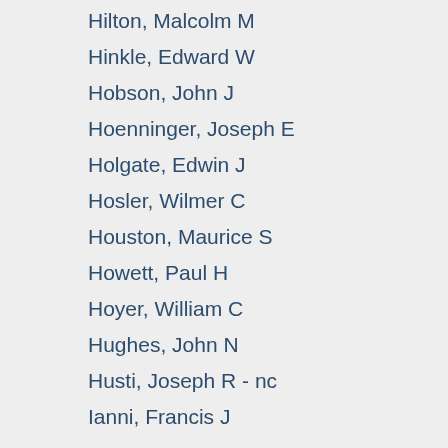Hilton, Malcolm M
Hinkle, Edward W
Hobson, John J
Hoenninger, Joseph E
Holgate, Edwin J
Hosler, Wilmer C
Houston, Maurice S
Howett, Paul H
Hoyer, William C
Hughes, John N
Husti, Joseph R - nc
Ianni, Francis J